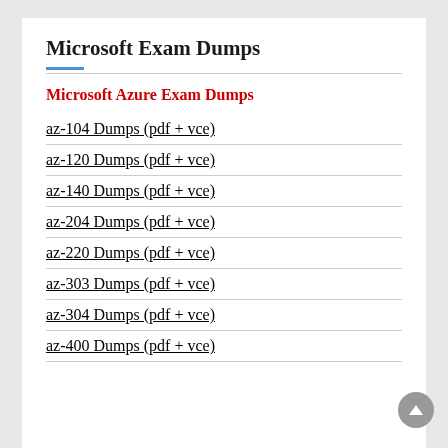Microsoft Exam Dumps
Microsoft Azure Exam Dumps
az-104 Dumps (pdf + vce)
az-120 Dumps (pdf + vce)
az-140 Dumps (pdf + vce)
az-204 Dumps (pdf + vce)
az-220 Dumps (pdf + vce)
az-303 Dumps (pdf + vce)
az-304 Dumps (pdf + vce)
az-400 Dumps (pdf + vce)